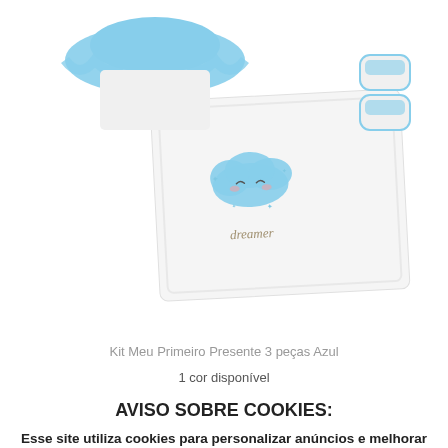[Figure (photo): Baby gift set kit with blue ruffle hat/clothing and white blanket with a cute cloud 'dreamer' embroidery, also showing baby booties.]
Kit Meu Primeiro Presente 3 peças Azul
1 cor disponível
R$ 77,00 (partially visible, cut off by cookie banner)
AVISO SOBRE COOKIES:
Esse site utiliza cookies para personalizar anúncios e melhorar a sua experiência. Ao continuar navegando, você concorda com a nossa Política de Privacidade.
CONCORDAR E FECHAR